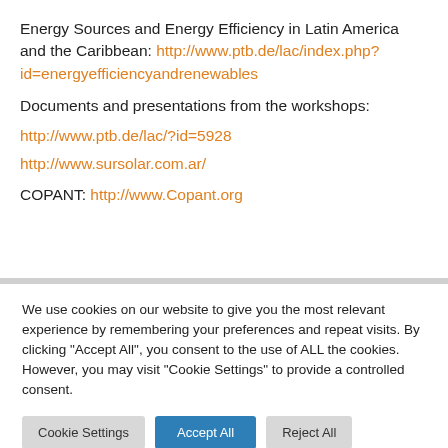Energy Sources and Energy Efficiency in Latin America and the Caribbean: http://www.ptb.de/lac/index.php?id=energyefficiencyandrenewables
Documents and presentations from the workshops:
http://www.ptb.de/lac/?id=5928
http://www.sursolar.com.ar/
COPANT: http://www.Copant.org
We use cookies on our website to give you the most relevant experience by remembering your preferences and repeat visits. By clicking "Accept All", you consent to the use of ALL the cookies. However, you may visit "Cookie Settings" to provide a controlled consent.